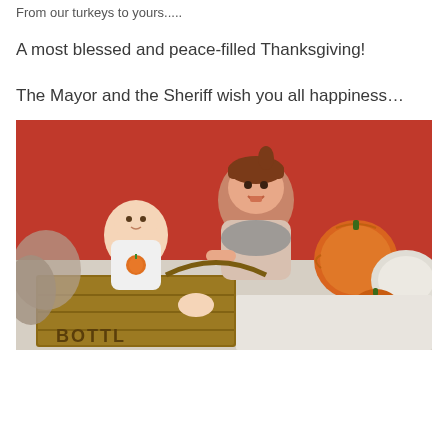From our turkeys to yours.....
A most blessed and peace-filled Thanksgiving!
The Mayor and the Sheriff wish you all happiness…
[Figure (photo): Two young children sitting in a wooden crate labeled 'BOTTL...' — a baby in a white onesie with a pumpkin design and a toddler girl with brown hair in a ponytail smiling broadly. Orange and white pumpkins are visible to the right. Background is a red surface. Fall/Thanksgiving themed photo.]